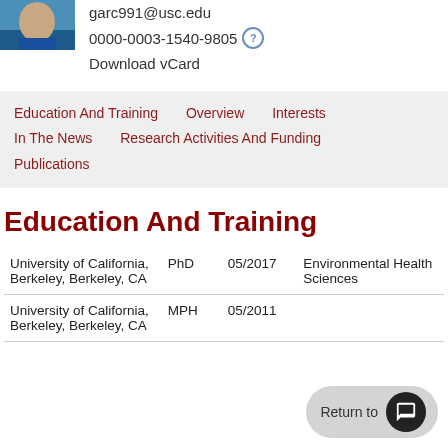[Figure (photo): Partial photo of a person wearing blue clothing]
garc991@usc.edu
0000-0003-1540-9805
Download vCard
Education And Training   Overview   Interests   In The News   Research Activities And Funding   Publications
Education And Training
| Institution | Degree | Date | Field |
| --- | --- | --- | --- |
| University of California, Berkeley, Berkeley, CA | PhD | 05/2017 | Environmental Health Sciences |
| University of California, Berkeley, Berkeley, CA | MPH | 05/2011 |  |